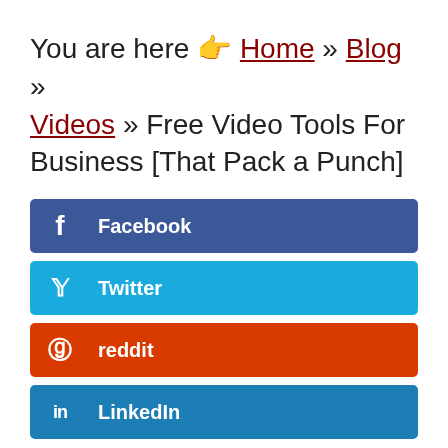You are here 👉 Home » Blog » Videos » Free Video Tools For Business [That Pack a Punch]
Facebook
Twitter
reddit
LinkedIn